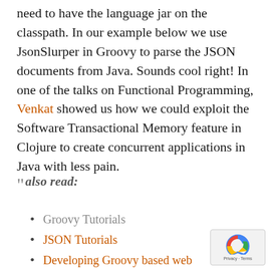need to have the language jar on the classpath. In our example below we use JsonSlurper in Groovy to parse the JSON documents from Java. Sounds cool right! In one of the talks on Functional Programming, Venkat showed us how we could exploit the Software Transactional Memory feature in Clojure to create concurrent applications in Java with less pain.
" also read:
Groovy Tutorials
JSON Tutorials
Developing Groovy based web